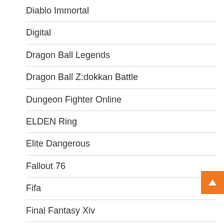Diablo Immortal
Digital
Dragon Ball Legends
Dragon Ball Z:dokkan Battle
Dungeon Fighter Online
ELDEN Ring
Elite Dangerous
Fallout 76
Fifa
Final Fantasy Xiv
Forza Horizon